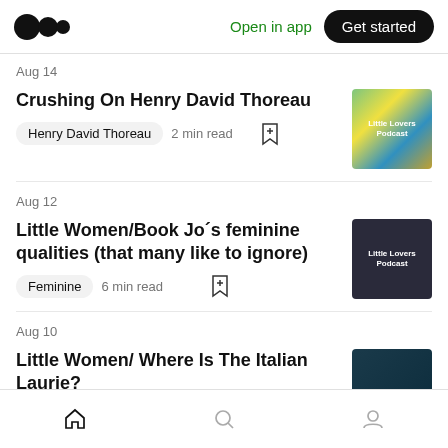Medium logo | Open in app | Get started
Aug 14
Crushing On Henry David Thoreau
Henry David Thoreau  2 min read
Aug 12
Little Women/Book Jo´s feminine qualities (that many like to ignore)
Feminine  6 min read
Aug 10
Little Women/ Where Is The Italian Laurie?